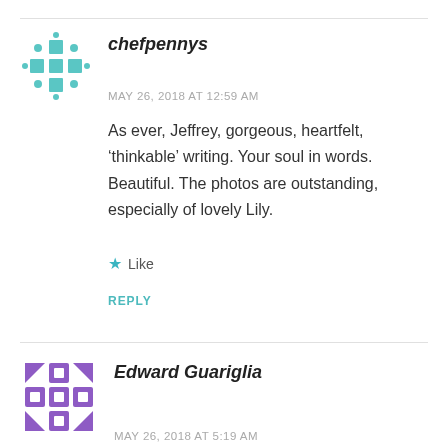[Figure (illustration): Teal/green pixelated avatar icon for chefpennys]
chefpennys
MAY 26, 2018 AT 12:59 AM
As ever, Jeffrey, gorgeous, heartfelt, ‘thinkable’ writing. Your soul in words. Beautiful. The photos are outstanding, especially of lovely Lily.
Like
REPLY
[Figure (illustration): Purple pixelated/diamond-pattern avatar icon for Edward Guariglia]
Edward Guariglia
MAY 26, 2018 AT 5:19 AM